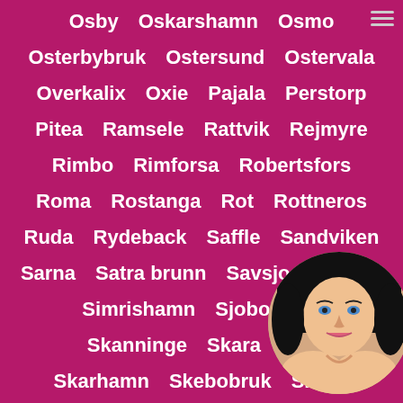Osby  Oskarshamn  Osmo
Osterbybruk  Ostersund  Ostervala
Overkalix  Oxie  Pajala  Perstorp
Pitea  Ramsele  Rattvik  Rejmyre
Rimbo  Rimforsa  Robertsfors
Roma  Rostanga  Rot  Rottneros
Ruda  Rydeback  Saffle  Sandviken
Sarna  Satra brunn  Savsjo  Sigtuna
Simrishamn  Sjobo  Sjo...
Skanninge  Skara  Ska...
Skarhamn  Skebobruk  Skede...
[Figure (photo): Circular photo of a woman in the bottom right corner, partially overlapping the text list]